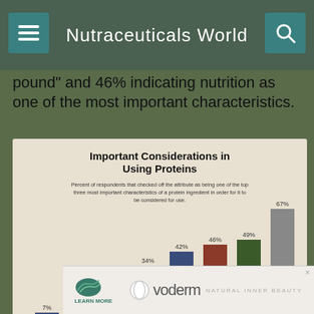Nutraceuticals World
pound" and 46% indicating nutrition as one of the most important characteristics.
[Figure (bar-chart): Percent of respondents that checked off the attribute as being one of the top three most important characteristics of a protein ingredient in order for it to be considered for use.]
[Figure (advertisement): Nutralliance ovoderm NATURAL INNER BEAUTY ad]